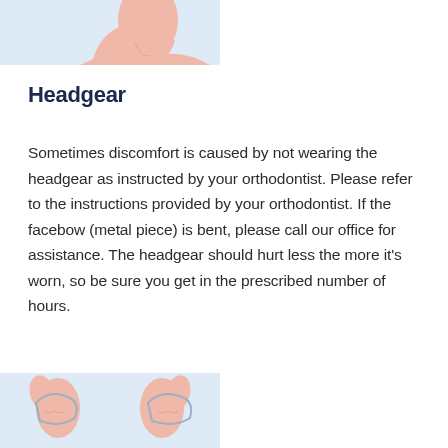[Figure (illustration): Partial illustration of a person's head/neck profile on a light blue background, cropped at top of page]
Headgear
Sometimes discomfort is caused by not wearing the headgear as instructed by your orthodontist. Please refer to the instructions provided by your orthodontist. If the facebow (metal piece) is bent, please call our office for assistance. The headgear should hurt less the more it's worn, so be sure you get in the prescribed number of hours.
[Figure (illustration): Partial illustration of hands or dental appliance on a light blue background, cropped at bottom of page]